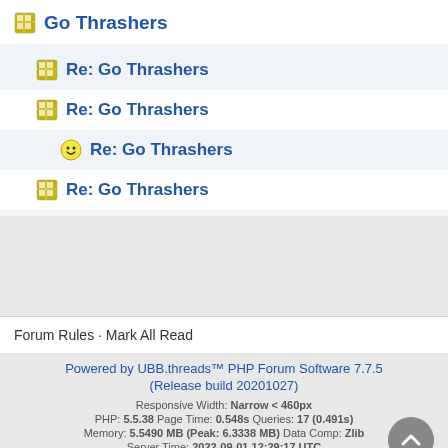Go Thrashers
Re: Go Thrashers
Re: Go Thrashers
Re: Go Thrashers
Re: Go Thrashers
Forum Rules · Mark All Read
Powered by UBB.threads™ PHP Forum Software 7.7.5
(Release build 20201027)
Responsive Width: Narrow < 460px
PHP: 5.5.38 Page Time: 0.548s Queries: 17 (0.491s)
Memory: 5.5490 MB (Peak: 6.3338 MB) Data Comp: Zlib
Server Time: 2022-09-01 12:29:17 UTC
Valid HTML 5 and Valid CSS